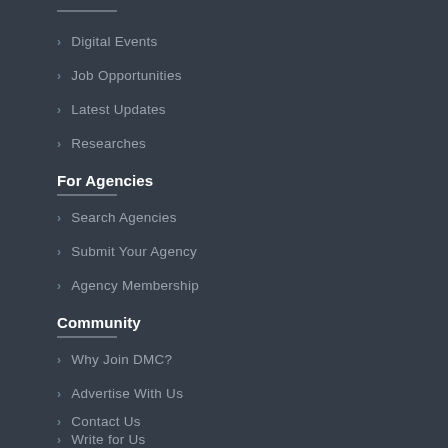Digital Events
Job Opportunities
Latest Updates
Researches
For Agencies
Search Agencies
Submit Your Agency
Agency Membership
Community
Why Join DMC?
Advertise With Us
Contact Us
Write for Us